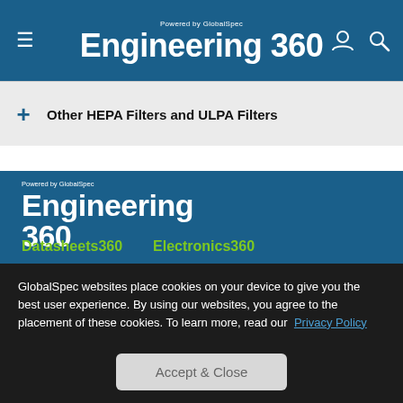Engineering 360 — Powered by GlobalSpec
+ Other HEPA Filters and ULPA Filters
[Figure (logo): Engineering 360 logo — Powered by GlobalSpec, large footer version]
Datasheets360
Electronics360
About Us
Home
Get Listed With Us
Site Map
Advertise With Us
Top Categories
GlobalSpec websites place cookies on your device to give you the best user experience. By using our websites, you agree to the placement of these cookies. To learn more, read our Privacy Policy
Accept & Close